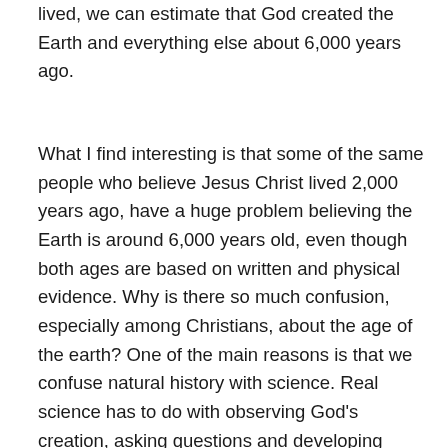lived, we can estimate that God created the Earth and everything else about 6,000 years ago.
What I find interesting is that some of the same people who believe Jesus Christ lived 2,000 years ago, have a huge problem believing the Earth is around 6,000 years old, even though both ages are based on written and physical evidence. Why is there so much confusion, especially among Christians, about the age of the earth? One of the main reasons is that we confuse natural history with science. Real science has to do with observing God's creation, asking questions and developing hypotheses, then performing experiments and analyzing and discussing the results. But wait, there's more! Real science must verify the results, and this is IMPOSSIBLE to do when studying past events. Whether you believe the Earth is younger or older (although 6,000